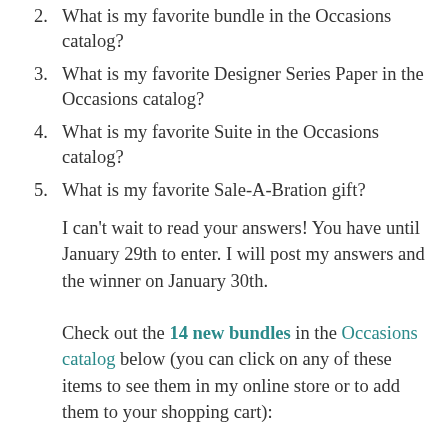2. What is my favorite bundle in the Occasions catalog?
3. What is my favorite Designer Series Paper in the Occasions catalog?
4. What is my favorite Suite in the Occasions catalog?
5. What is my favorite Sale-A-Bration gift?
I can't wait to read your answers! You have until January 29th to enter. I will post my answers and the winner on January 30th.
Check out the 14 new bundles in the Occasions catalog below (you can click on any of these items to see them in my online store or to add them to your shopping cart):